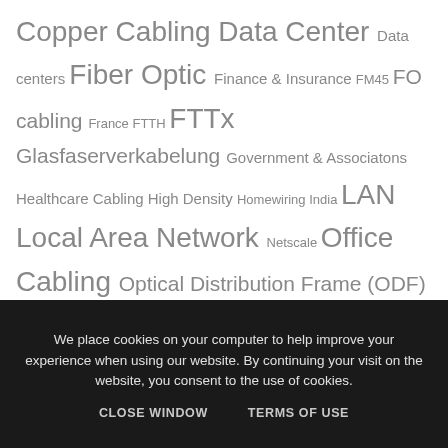Copper Cabling Data Center Data centers Fiber Optic Finance & Insurance FM45 FO cabling France FTTH FTTx Glasfaserverkabelung Government & Associatons Healthcare Cabling High Density Homewiring India LAN Local Area Network Netscale Office Cabling Optical Distribution Frame (ODF) PoE Poland Portugal Power over Ethernet Public Networks R&Mfoxs R&Mfreenet R&MinteliPhy References
We place cookies on your computer to help improve your experience when using our website. By continuing your visit on the website, you consent to the use of cookies.
CLOSE WINDOW   TERMS OF USE